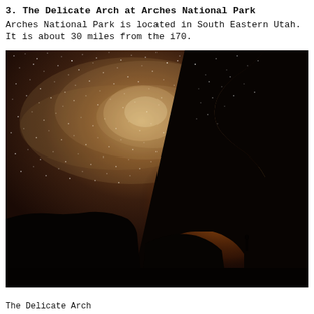3. The Delicate Arch at Arches National Park
Arches National Park is located in South Eastern Utah. It is about 30 miles from the i70.
[Figure (photo): Night sky photograph of Delicate Arch at Arches National Park. The Milky Way galaxy is visible across a deep brown-purple starry sky. The silhouette of Delicate Arch dominates the right side of the image in stark black. Through the arch opening, warm orange and golden light glows around the galactic core. A small human silhouette stands beneath the arch. The foreground shows the dark rocky landscape in silhouette.]
The Delicate Arch